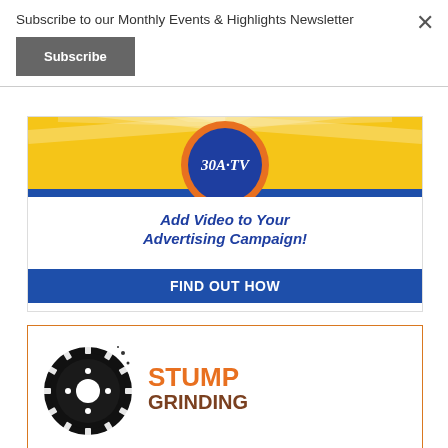Subscribe to our Monthly Events & Highlights Newsletter
Subscribe
[Figure (logo): 30A.TV advertisement banner with blue circle logo, sunray background, text 'Add Video to Your Advertising Campaign!' and 'FIND OUT HOW' button]
[Figure (logo): Stump Grinding advertisement with circular saw blade logo, orange text 'STUMP' and brown distressed text 'GRINDING']